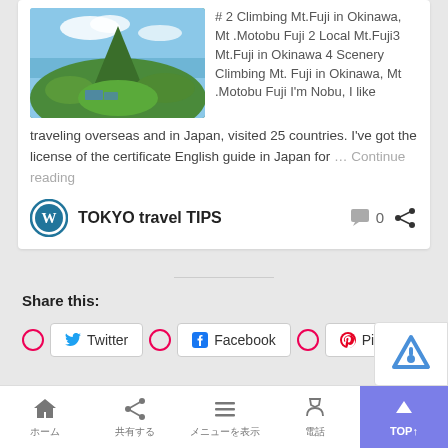[Figure (photo): Aerial view of a green mountain with ocean in the background, tropical landscape in Okinawa Japan]
# 2 Climbing Mt.Fuji in Okinawa, Mt .Motobu Fuji 2 Local Mt.Fuji3 Mt.Fuji in Okinawa 4 Scenery Climbing Mt. Fuji in Okinawa, Mt .Motobu Fuji I'm Nobu, I like traveling overseas and in Japan, visited 25 countries. I've got the license of the certificate English guide in Japan for … Continue reading
TOKYO travel TIPS
0
Share this:
Twitter
Facebook
Pinterest 43